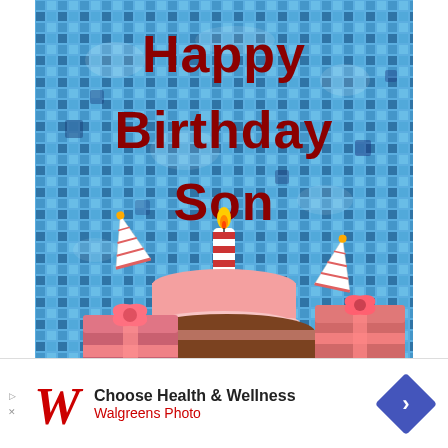[Figure (illustration): Birthday card image with a blue mosaic/pool tile background, 'Happy Birthday Son' text in dark red/maroon block letters, illustrated birthday cake with pink frosting layers and a lit candle on top, party hats scattered, and gift boxes with pink bows at the bottom]
Choose Health & Wellness
Walgreens Photo
[Figure (logo): Walgreens stylized W logo in red cursive script]